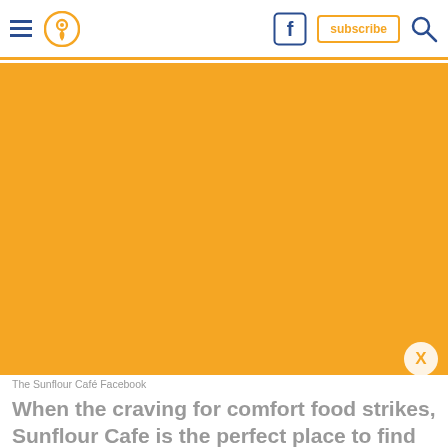Navigation bar with hamburger menu, location pin icon, Facebook icon, subscribe button, search icon
[Figure (photo): Large orange/amber colored image area — The Sunflour Café Facebook photo]
The Sunflour Café Facebook
When the craving for comfort food strikes, Sunflour Cafe is the perfect place to find delicious Southern comfort food, including